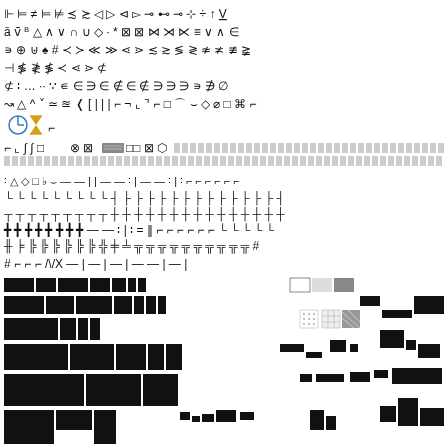[Figure (other): A large grid/table of Unicode mathematical, technical, and geometric symbols arranged in rows, including arrows, set notation, operators, box-drawing characters, block elements, and various special characters. Some symbols appear in color (blue, yellow). The lower portion shows progressively larger filled rectangles and block elements.]